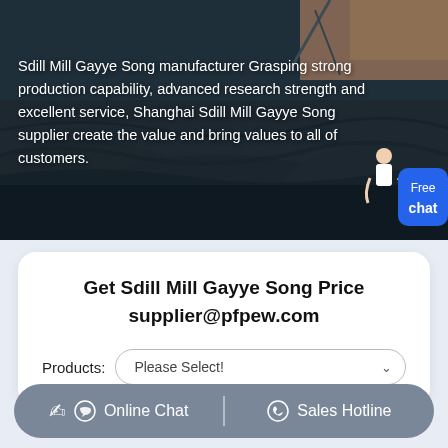[Figure (photo): Aerial view of a mining/quarry site with dark rock surfaces and machinery, serving as a hero background image]
Sdill Mill Gayye Song manufacturer Grasping strong production capability, advanced research strength and excellent service, Shanghai Sdill Mill Gayye Song supplier create the value and bring values to all of customers.
Get Sdill Mill Gayye Song Price supplier@pfpew.com
Products: Please Select!
Online Chat | Sales Hotline